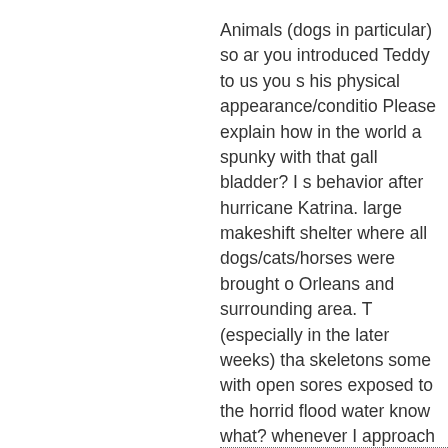Animals (dogs in particular) so ar you introduced Teddy to us you s his physical appearance/conditio Please explain how in the world a spunky with that gall bladder? I s behavior after hurricane Katrina. large makeshift shelter where all dogs/cats/horses were brought o Orleans and surrounding area. T (especially in the later weeks) tha skeletons some with open sores exposed to the horrid flood water know what? whenever I approach etc. they'd get up, wag their tail a at having human contact. No pity animal world I guess.
Get well soon Mr. Teddy.